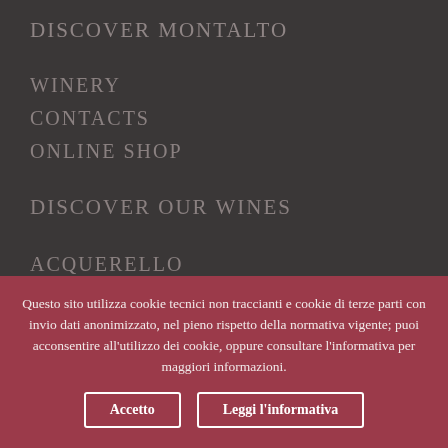DISCOVER MONTALTO
WINERY
CONTACTS
ONLINE SHOP
DISCOVER OUR WINES
ACQUERELLO
CUCUNCI
BIO
COLLEZIONE DI FAMIGLIA
Questo sito utilizza cookie tecnici non traccianti e cookie di terze parti con invio dati anonimizzato, nel pieno rispetto della normativa vigente; puoi acconsentire all'utilizzo dei cookie, oppure consultare l'informativa per maggiori informazioni.
Accetto | Leggi l'informativa